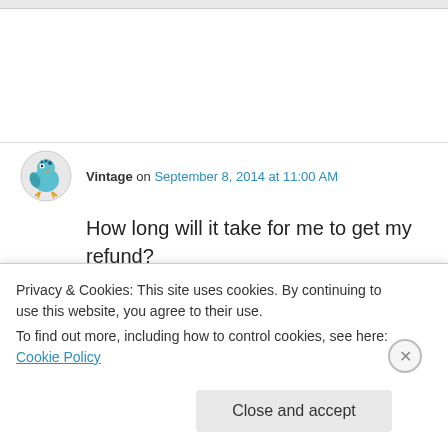[Figure (illustration): Small cartoon bird avatar icon for user 'Vintage']
Vintage on September 8, 2014 at 11:00 AM
How long will it take for me to get my refund?
★ Like
👍 0 👎 2 ℹ Rate This
↩ Reply
Privacy & Cookies: This site uses cookies. By continuing to use this website, you agree to their use.
To find out more, including how to control cookies, see here: Cookie Policy
Close and accept